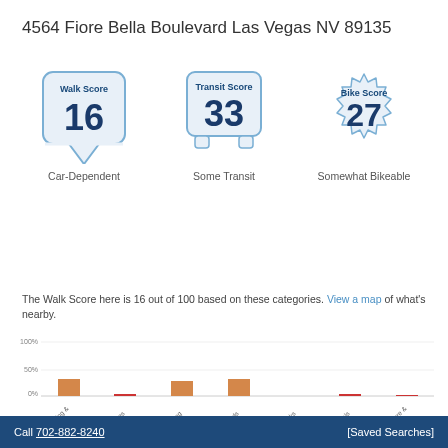4564 Fiore Bella Boulevard Las Vegas NV 89135
[Figure (infographic): Three score badges: Walk Score 16 (Car-Dependent), Transit Score 33 (Some Transit), Bike Score 27 (Somewhat Bikeable)]
The Walk Score here is 16 out of 100 based on these categories. View a map of what's nearby.
[Figure (bar-chart): Walk Score categories]
Call 702-882-8240   [Saved Searches]